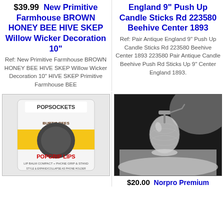$39.99 New Primitive Farmhouse BROWN HONEY BEE HIVE SKEP Willow Wicker Decoration 10"
England 9" Push Up Candle Sticks Rd 223580 Beehive Center 1893
Ref: New Primitive Farmhouse BROWN HONEY BEE HIVE SKEP Willow Wicker Decoration 10" HIVE SKEP Primitive Farmhouse BEE
Ref: Pair Antique England 9" Push Up Candle Sticks Rd 223580 Beehive Center 1893 223580 Pair Antique Candle Beehive Push Rd Sticks Up 9" Center England 1893.
[Figure (photo): PopSockets PopGrip Lips product with Burt's Bees lip balm in yellow packaging on white background]
[Figure (photo): Antique glass beehive-shaped push-up candle stick on white fabric with dark background]
$20.00 Norpro Premium